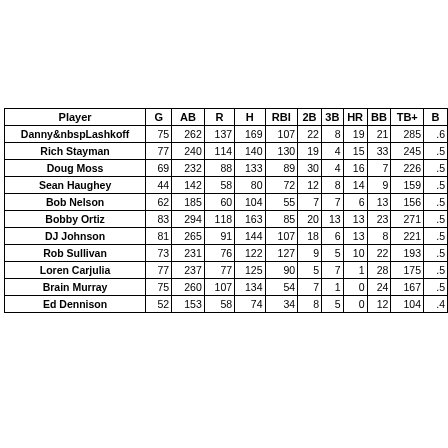| Player | G | AB | R | H | RBI | 2B | 3B | HR | BB | TB+ | B |
| --- | --- | --- | --- | --- | --- | --- | --- | --- | --- | --- | --- |
| Danny Lashkoff | 75 | 262 | 137 | 169 | 107 | 22 | 8 | 19 | 21 | 285 | .6 |
| Rich Stayman | 77 | 240 | 114 | 140 | 130 | 19 | 4 | 15 | 33 | 245 | .5 |
| Doug Moss | 69 | 232 | 88 | 133 | 89 | 30 | 4 | 16 | 7 | 226 | .5 |
| Sean Haughey | 44 | 142 | 58 | 80 | 72 | 12 | 8 | 14 | 9 | 159 | .5 |
| Bob Nelson | 62 | 185 | 60 | 104 | 55 | 7 | 7 | 6 | 13 | 156 | .5 |
| Bobby Ortiz | 83 | 294 | 118 | 163 | 85 | 20 | 13 | 13 | 23 | 271 | .5 |
| DJ Johnson | 81 | 265 | 91 | 144 | 107 | 18 | 6 | 13 | 8 | 221 | .5 |
| Rob Sullivan | 73 | 231 | 76 | 122 | 127 | 9 | 5 | 10 | 22 | 193 | .5 |
| Loren Carjulia | 77 | 237 | 77 | 125 | 90 | 5 | 7 | 1 | 28 | 175 | .5 |
| Brain Murray | 75 | 260 | 107 | 134 | 54 | 7 | 1 | 0 | 24 | 167 | .5 |
| Ed Dennison | 52 | 153 | 58 | 74 | 34 | 8 | 5 | 0 | 12 | 104 | .4 |